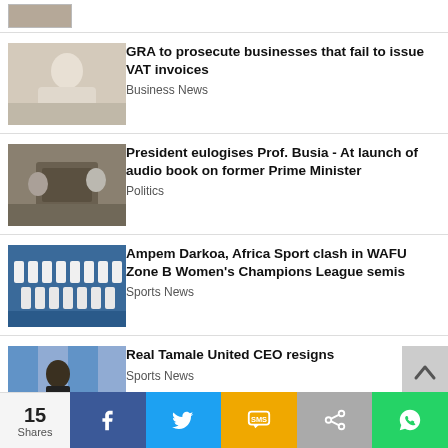[Figure (photo): Partial thumbnail image at top of news list]
GRA to prosecute businesses that fail to issue VAT invoices | Business News
President eulogises Prof. Busia - At launch of audio book on former Prime Minister | Politics
Ampem Darkoa, Africa Sport clash in WAFU Zone B Women's Champions League semis | Sports News
Real Tamale United CEO resigns | Sports News
15 Shares | Facebook | Twitter | SMS | Share | WhatsApp